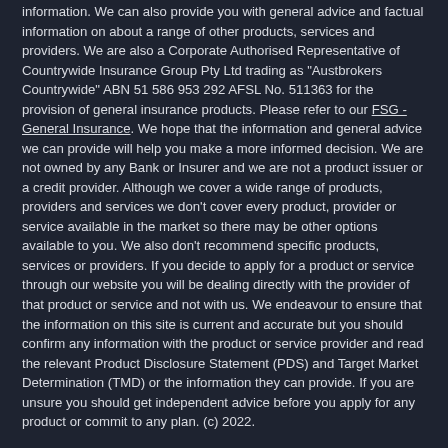information. We can also provide you with general advice and factual information on about a range of other products, services and providers. We are also a Corporate Authorised Representative of Countrywide Insurance Group Pty Ltd trading as "Austbrokers Countrywide" ABN 51 586 953 292 AFSL No. 511363 for the provision of general insurance products. Please refer to our FSG - General Insurance. We hope that the information and general advice we can provide will help you make a more informed decision. We are not owned by any Bank or Insurer and we are not a product issuer or a credit provider. Although we cover a wide range of products, providers and services we don't cover every product, provider or service available in the market so there may be other options available to you. We also don't recommend specific products, services or providers. If you decide to apply for a product or service through our website you will be dealing directly with the provider of that product or service and not with us. We endeavour to ensure that the information on this site is current and accurate but you should confirm any information with the product or service provider and read the relevant Product Disclosure Statement (PDS) and Target Market Determination (TMD) or the information they can provide. If you are unsure you should get independent advice before you apply for any product or commit to any plan. (c) 2022.
Finder Earn and Finder's digital asset trading is powered by Finder Wallet Pty Ltd (ABN 11 149 012 653) an AUSTRAC registered Digital Currency Exchange and reporting entity (DCE100735494-001). Finder Wallet is an arm of the
Looks like you're in the US. Go to our US site to compare rele products for your country.
Go to Finder US
No, stay on this page